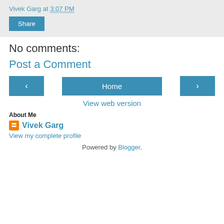Vivek Garg at 3:07 PM
Share
No comments:
Post a Comment
< Home >
View web version
About Me
Vivek Garg
View my complete profile
Powered by Blogger.